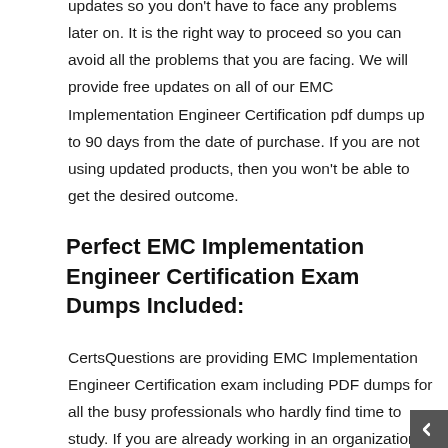updates so you don't have to face any problems later on. It is the right way to proceed so you can avoid all the problems that you are facing. We will provide free updates on all of our EMC Implementation Engineer Certification pdf dumps up to 90 days from the date of purchase. If you are not using updated products, then you won't be able to get the desired outcome.
Perfect EMC Implementation Engineer Certification Exam Dumps Included:
CertsQuestions are providing EMC Implementation Engineer Certification exam including PDF dumps for all the busy professionals who hardly find time to study. If you are already working in an organization and you need to clear EMC exams, then you should consider using our EMC Implementation